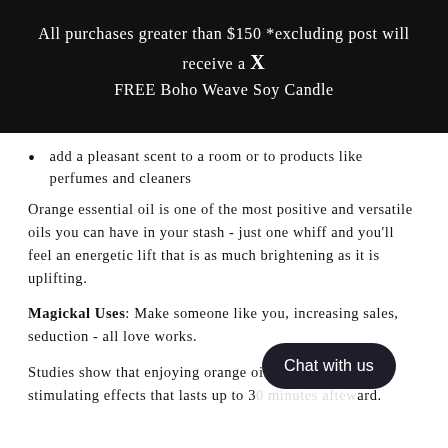All purchases greater than $150 *excluding post will receive a X FREE Boho Weave Soy Candle
add a pleasant scent to a room or to products like perfumes and cleaners
Orange essential oil is one of the most positive and versatile oils you can have in your stash - just one whiff and you'll feel an energetic lift that is as much brightening as it is uplifting.
Magickal Uses: Make someone like you, increasing sales, seduction - all love works.
Studies show that enjoying orange oil fo... have stimulating effects that lasts up to 3... ard.